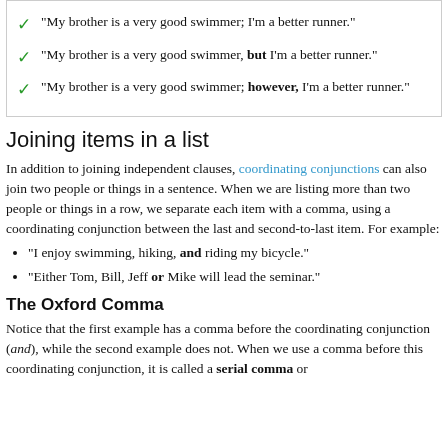"My brother is a very good swimmer; I'm a better runner."
"My brother is a very good swimmer, but I'm a better runner."
"My brother is a very good swimmer; however, I'm a better runner."
Joining items in a list
In addition to joining independent clauses, coordinating conjunctions can also join two people or things in a sentence. When we are listing more than two people or things in a row, we separate each item with a comma, using a coordinating conjunction between the last and second-to-last item. For example:
"I enjoy swimming, hiking, and riding my bicycle."
"Either Tom, Bill, Jeff or Mike will lead the seminar."
The Oxford Comma
Notice that the first example has a comma before the coordinating conjunction (and), while the second example does not. When we use a comma before this coordinating conjunction, it is called a serial comma or